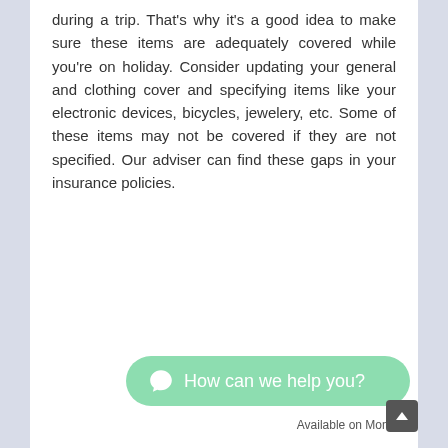during a trip. That's why it's a good idea to make sure these items are adequately covered while you're on holiday. Consider updating your general and clothing cover and specifying items like your electronic devices, bicycles, jewelery, etc. Some of these items may not be covered if they are not specified. Our adviser can find these gaps in your insurance policies.
How can we help you?
Available on Monday